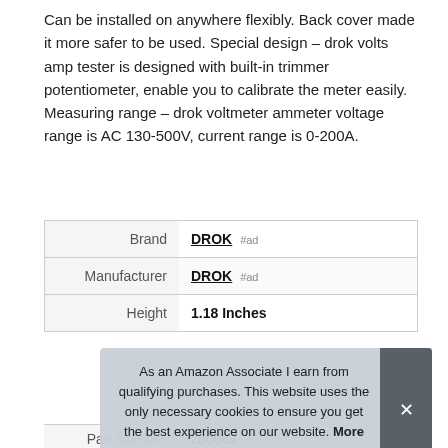Can be installed on anywhere flexibly. Back cover made it more safer to be used. Special design – drok volts amp tester is designed with built-in trimmer potentiometer, enable you to calibrate the meter easily. Measuring range – drok voltmeter ammeter voltage range is AC 130-500V, current range is 0-200A.
|  |  |
| --- | --- |
| Brand | DROK #ad |
| Manufacturer | DROK #ad |
| Height | 1.18 Inches |
| Part Number | 200069 |
As an Amazon Associate I earn from qualifying purchases. This website uses the only necessary cookies to ensure you get the best experience on our website. More information